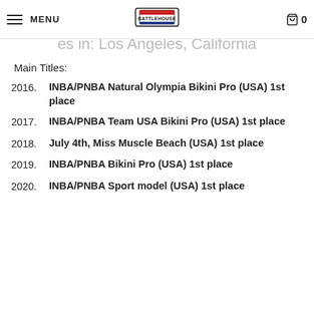MENU | BattleHouse Logo | Cart 0
es in: Los Angeles, California
Main Titles:
2016. INBA/PNBA Natural Olympia Bikini Pro (USA) 1st place
2017. INBA/PNBA Team USA Bikini Pro (USA) 1st place
2018. July 4th, Miss Muscle Beach (USA) 1st place
2019. INBA/PNBA Bikini Pro (USA) 1st place
2020. INBA/PNBA Sport model (USA) 1st place